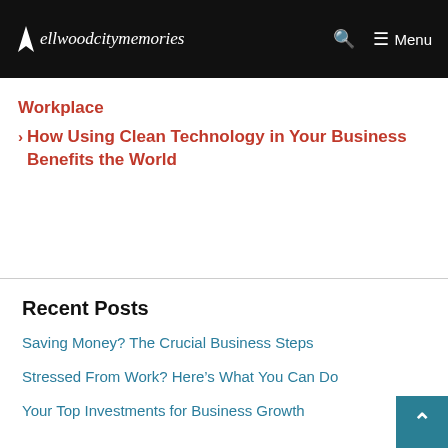ellwoodcitymemories — Menu
Workplace
› How Using Clean Technology in Your Business Benefits the World
Recent Posts
Saving Money? The Crucial Business Steps
Stressed From Work? Here's What You Can Do
Your Top Investments for Business Growth